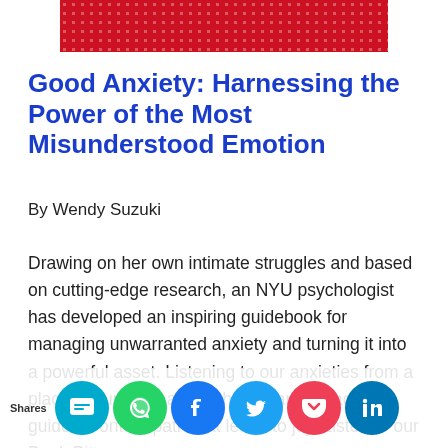[Figure (illustration): Red banner image with dot/confetti pattern overlay at top of page]
Good Anxiety: Harnessing the Power of the Most Misunderstood Emotion
By Wendy Suzuki
Drawing on her own intimate struggles and based on cutting-edge research, an NYU psychologist has developed an inspiring guidebook for managing unwarranted anxiety and turning it into a powerful asset. Listening to our anxieties from a place of curiosity, and without fear, can actually guide us onto a path that leads to joy. Listen to our Book Bite...
[Figure (infographic): Social sharing bar with icons: SMS/SIMO, WhatsApp, Facebook, Twitter, Pocket, LinkedIn. Label reads 'Shares' on the left.]